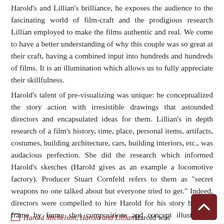Harold's and Lillian's brilliance, he exposes the audience to the fascinating world of film-craft and the prodigious research Lillian employed to make the films authentic and real. We come to have a better understanding of why this couple was so great at their craft, having a combined input into hundreds and hundreds of films. It is an illumination which allows us to fully appreciate their skillfulness.
Harold's talent of pre-visualizing was unique: he conceptualized the story action with irresistible drawings that astounded directors and encapsulated ideas for them. Lillian's in depth research of a film's history, time, place, personal items, artifacts, costumes, building architecture, cars, building interiors, etc., was audacious perfection. She did the research which informed Harold's sketches (Harold gives as an example a locomotive factory). Producer Stuart Cornfeld refers to them as "secret weapons no one talked about but everyone tried to get." Indeed, directors were compelled to hire Harold for his story boarded frame by frame shot compositions and concept illustrations because they were so good. And Lillian made sure that the items that he drew were authentic and real to time and place.
Harold Michelson, Harold and Lillian a
Harold was